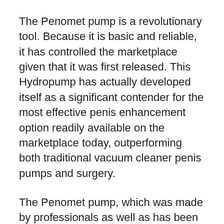The Penomet pump is a revolutionary tool. Because it is basic and reliable, it has controlled the marketplace given that it was first released. This Hydropump has actually developed itself as a significant contender for the most effective penis enhancement option readily available on the marketplace today, outperforming both traditional vacuum cleaner penis pumps and surgery.
The Penomet pump, which was made by professionals as well as has been made use of by a great deal of people, is unique, comfy, as well as secure.
The pump’s success can be credited to its one-of-a-kind style as well as